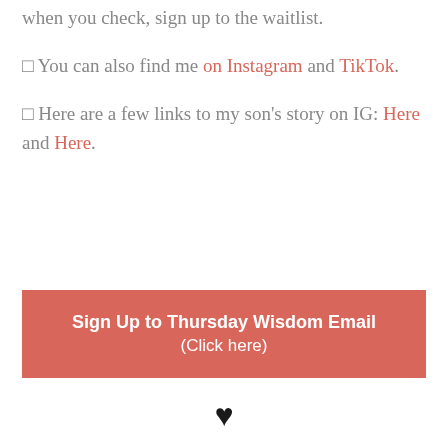when you check, sign up to the waitlist.
🔲 You can also find me on Instagram and TikTok.
🔲 Here are a few links to my son's story on IG: Here and Here.
[Figure (other): Salmon/red button with white text: 'Sign Up to Thursday Wisdom Email' and '(Click here)']
♥